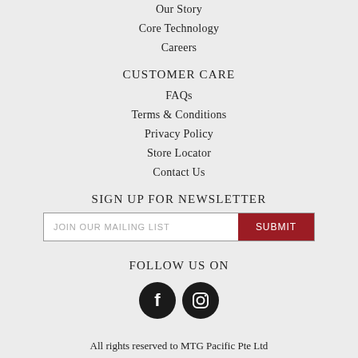Our Story
Core Technology
Careers
CUSTOMER CARE
FAQs
Terms & Conditions
Privacy Policy
Store Locator
Contact Us
SIGN UP FOR NEWSLETTER
[Figure (other): Email newsletter signup form with input field labeled JOIN OUR MAILING LIST and a dark red SUBMIT button]
FOLLOW US ON
[Figure (other): Two social media icons: Facebook and Instagram, both black circles with white symbols]
All rights reserved to MTG Pacific Pte Ltd
Designed by Mapletree Media